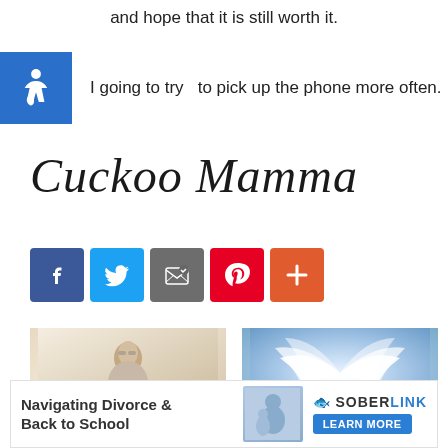and hope that it is still worth it.
I going to try  to pick up the phone more often.
[Figure (illustration): Cursive script signature reading 'Cuckoo Mamma']
[Figure (infographic): Social share buttons: Facebook, Twitter, Email, Pinterest, More (+)]
[Figure (photo): Woman sitting with laptop - related article image for 'Being Alone: I Have']
Being Alone: I Have
[Figure (photo): Angel wings on blue background - related article image for 'A Remarkable Mom and']
A Remarkable Mom and
[Figure (infographic): Advertisement banner: Navigating Divorce & Back to School - SoberLink - Learn More]